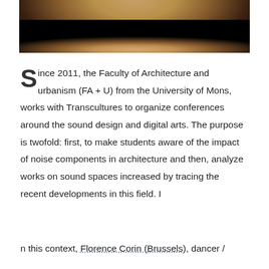[Figure (photo): Close-up cropped photograph of a person's beard/chin area with reddish-brown hair against a black background]
Since 2011, the Faculty of Architecture and urbanism (FA + U) from the University of Mons, works with Transcultures to organize conferences around the sound design and digital arts. The purpose is twofold: first, to make students aware of the impact of noise components in architecture and then, analyze works on sound spaces increased by tracing the recent developments in this field. I
n this context, Florence Corin (Brussels), dancer /